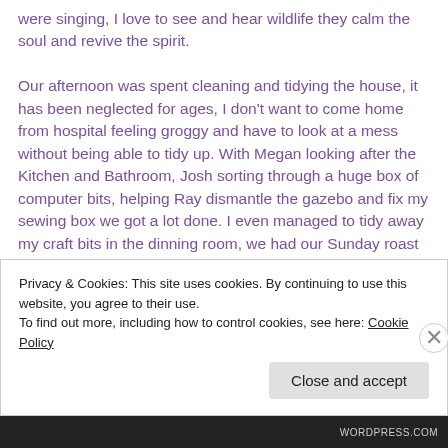were singing, I love to see and hear wildlife they calm the soul and revive the spirit.

Our afternoon was spent cleaning and tidying the house, it has been neglected for ages, I don't want to come home from hospital feeling groggy and have to look at a mess without being able to tidy up. With Megan looking after the Kitchen and Bathroom, Josh sorting through a huge box of computer bits, helping Ray dismantle the gazebo and fix my sewing box we got a lot done. I even managed to tidy away my craft bits in the dinning room, we had our Sunday roast (cooked by Megan) at the table for the first time in weeks. Thank you all for your
Privacy & Cookies: This site uses cookies. By continuing to use this website, you agree to their use.
To find out more, including how to control cookies, see here: Cookie Policy
Close and accept